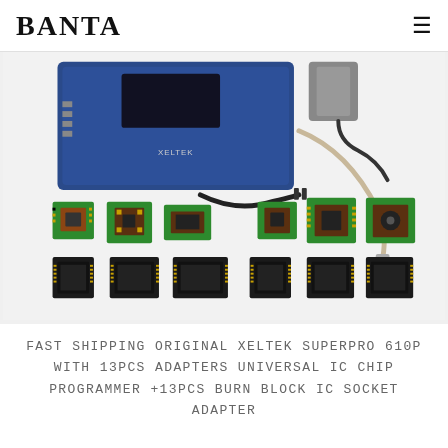BANTA
[Figure (photo): Product photo of Xeltek SuperPro 610P universal IC chip programmer with 13pcs adapter burn block IC socket adapters. Shows blue programmer unit, power cable, USB cable, and 13 green PCB adapter boards of various sizes with IC sockets.]
FAST SHIPPING ORIGINAL XELTEK SUPERPRO 610P WITH 13PCS ADAPTERS UNIVERSAL IC CHIP PROGRAMMER +13PCS BURN BLOCK IC SOCKET ADAPTER